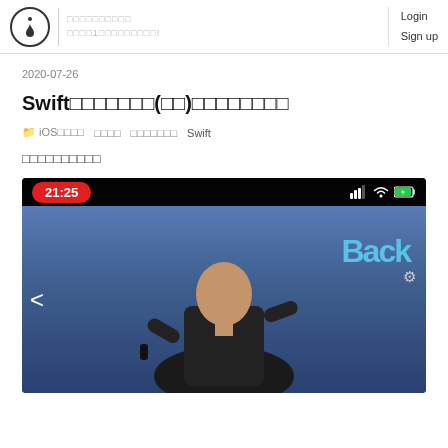Login  Sign up
2020-07-26
Swift□□□□□□□(□□)□□□□□□□□
□ iOS□□□□  □□□□  □□□□□□□  Swift
□□□□□□□□□□
[Figure (screenshot): Video player screenshot showing a keynote presentation with Steve Jobs on stage against a blue background, with a red time pill showing 21:25, signal/wifi/battery status icons, navigation arrow, and Back label overlay]